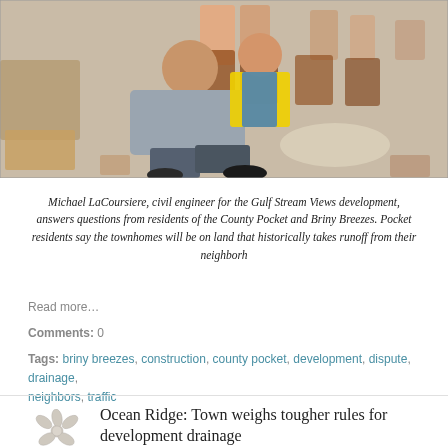[Figure (photo): People seated in chairs at a public meeting. A man in a gray shirt sits cross-legged in the foreground; another person wears a yellow safety vest. Others are visible in the rows behind them on a tiled floor.]
Michael LaCoursiere, civil engineer for the Gulf Stream Views development, answers questions from residents of the County Pocket and Briny Breezes. Pocket residents say the townhomes will be on land that historically takes runoff from their neighborh
Read more…
Comments: 0
Tags: briny breezes, construction, county pocket, development, dispute, drainage, neighbors, traffic
[Figure (illustration): Starfish / sea star illustration in light gray tones]
Ocean Ridge: Town weighs tougher rules for development drainage